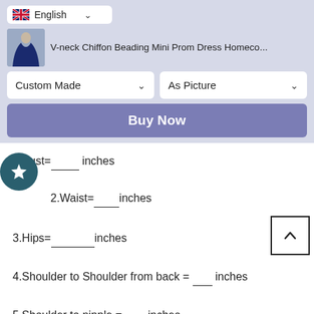[Figure (screenshot): Language selector dropdown showing English with UK flag, followed by product thumbnail and title 'V-neck Chiffon Beading Mini Prom Dress Homeco...', two dropdown selectors 'Custom Made' and 'As Picture', and a 'Buy Now' button]
1.Bust=_____ inches
2.Waist=_____inches
3.Hips=________inches
4.Shoulder to Shoulder from back = ___ inches
5.Shoulder to nipple = ___ inches